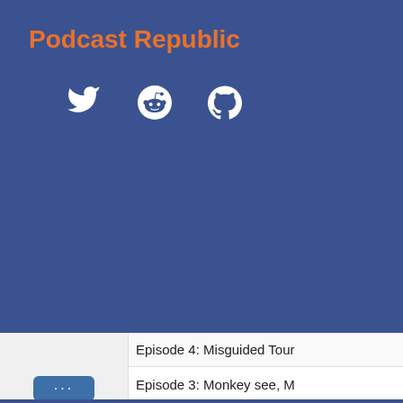Podcast Republic
[Figure (illustration): Social media icons: Twitter bird, Reddit alien, GitHub octocat — white icons on blue background]
Episode 4: Misguided Tour
Episode 3: Monkey see, M